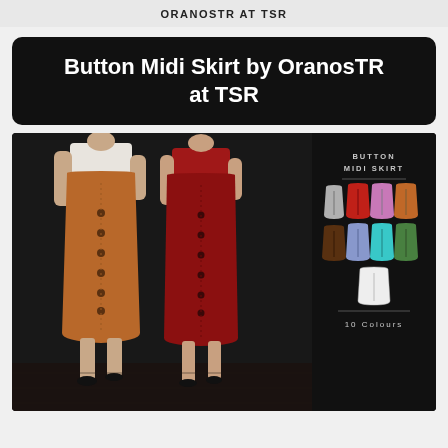ORANOSTR AT TSR
Button Midi Skirt by OranosTR at TSR
[Figure (photo): Product showcase of a Button Midi Skirt showing two mannequins wearing the skirt - one in caramel/tan color and one in dark red. The right side shows a swatch panel with the text BUTTON MIDI SKIRT, 10 color swatches in grey, red, pink, orange, brown, lavender, cyan, green, and white, plus a label reading 10 Colours.]